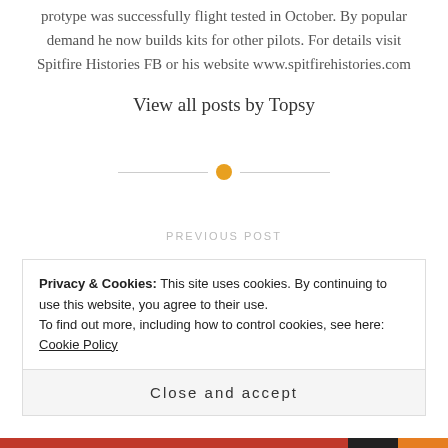protype was successfully flight tested in October. By popular demand he now builds kits for other pilots. For details visit Spitfire Histories FB or his website www.spitfirehistories.com
View all posts by Topsy
[Figure (other): Horizontal divider with orange circle in the center]
PREVIOUS POST
Privacy & Cookies: This site uses cookies. By continuing to use this website, you agree to their use.
To find out more, including how to control cookies, see here: Cookie Policy
Close and accept